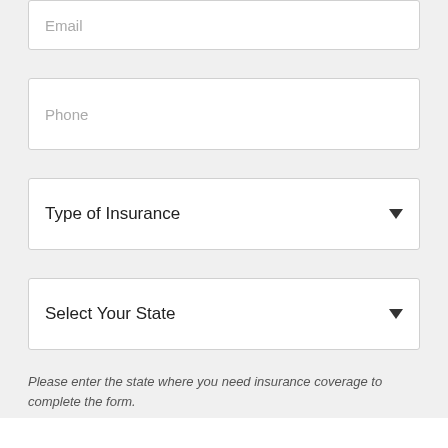Email
Phone
Type of Insurance
Select Your State
Please enter the state where you need insurance coverage to complete the form.